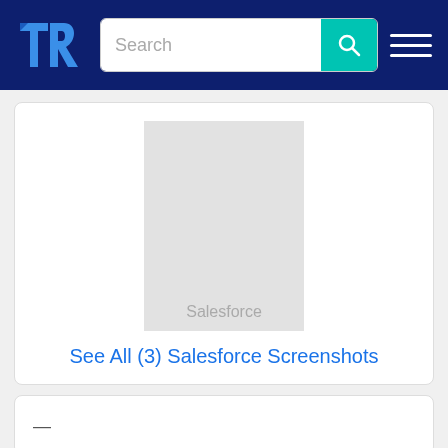TrustRadius navigation bar with search
[Figure (screenshot): Salesforce screenshot placeholder image (grey rectangle) with watermark text 'Salesforce']
See All (3) Salesforce Screenshots
—
Add comparison
Search